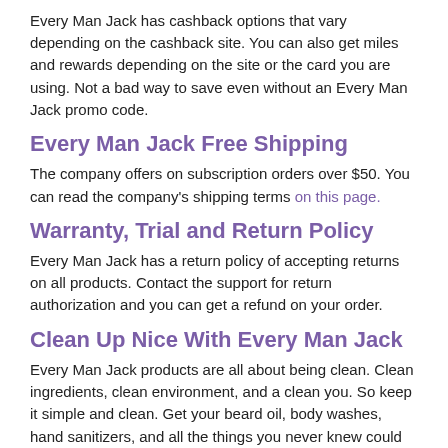Every Man Jack has cashback options that vary depending on the cashback site. You can also get miles and rewards depending on the site or the card you are using. Not a bad way to save even without an Every Man Jack promo code.
Every Man Jack Free Shipping
The company offers on subscription orders over $50. You can read the company's shipping terms on this page.
Warranty, Trial and Return Policy
Every Man Jack has a return policy of accepting returns on all products. Contact the support for return authorization and you can get a refund on your order.
Clean Up Nice With Every Man Jack
Every Man Jack products are all about being clean. Clean ingredients, clean environment, and a clean you. So keep it simple and clean. Get your beard oil, body washes, hand sanitizers, and all the things you never knew could make you look so good with an Every Man Jack discount code.
Also, don't forget about all the time and money you can save with a practical and punctual subscription box. New at Every Man Jack? Test the products yourself with a super cheap trial kit and even if the